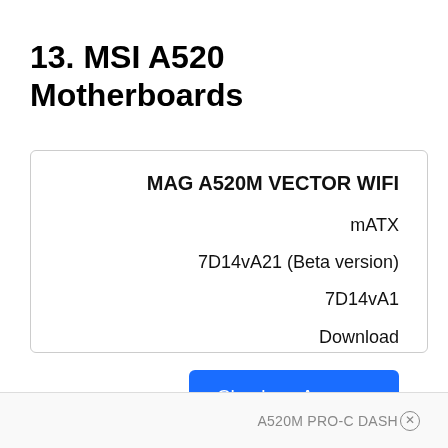13. MSI A520 Motherboards
|  | MAG A520M VECTOR WIFI |
| --- | --- |
|  | mATX |
|  | 7D14vA21 (Beta version) |
|  | 7D14vA1 |
|  | Download |
|  | Check on Amazon |
A520M PRO-C DASH ×